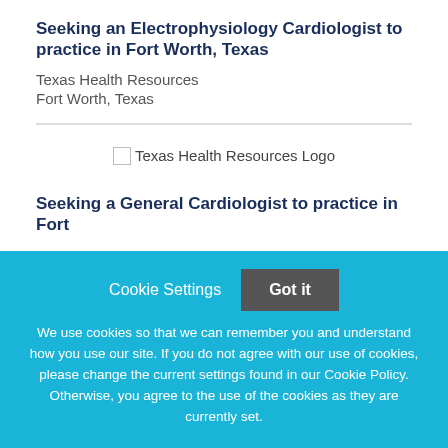Seeking an Electrophysiology Cardiologist to practice in Fort Worth, Texas
Texas Health Resources
Fort Worth, Texas
[Figure (logo): Texas Health Resources Logo]
Seeking a General Cardiologist to practice in Fort
Cookie Settings
Got it
We use cookies so that we can remember you and understand how you use our site. If you do not agree with our use of cookies, please change the current settings found in our Cookie Policy. Otherwise, you agree to the use of the cookies as they are currently set.